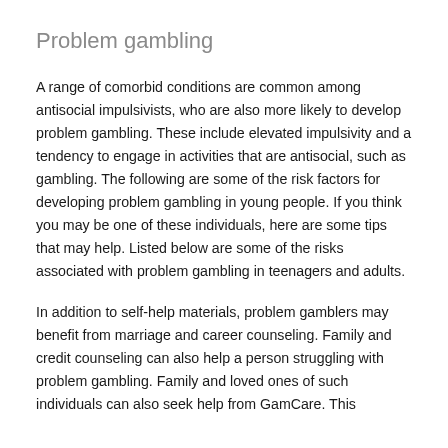Problem gambling
A range of comorbid conditions are common among antisocial impulsivists, who are also more likely to develop problem gambling. These include elevated impulsivity and a tendency to engage in activities that are antisocial, such as gambling. The following are some of the risk factors for developing problem gambling in young people. If you think you may be one of these individuals, here are some tips that may help. Listed below are some of the risks associated with problem gambling in teenagers and adults.
In addition to self-help materials, problem gamblers may benefit from marriage and career counseling. Family and credit counseling can also help a person struggling with problem gambling. Family and loved ones of such individuals can also seek help from GamCare. This